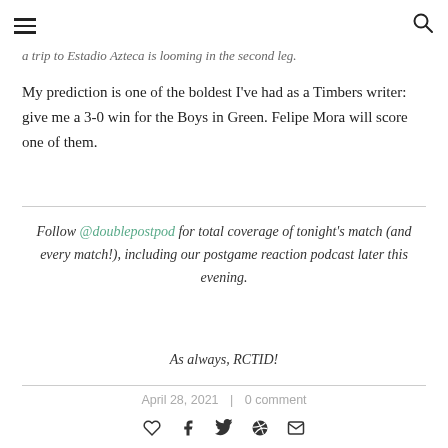≡  🔍
a trip to Estadio Azteca is looming in the second leg.
My prediction is one of the boldest I've had as a Timbers writer: give me a 3-0 win for the Boys in Green. Felipe Mora will score one of them.
Follow @doublepostpod for total coverage of tonight's match (and every match!), including our postgame reaction podcast later this evening.

As always, RCTID!
April 28, 2021  |  0 comment